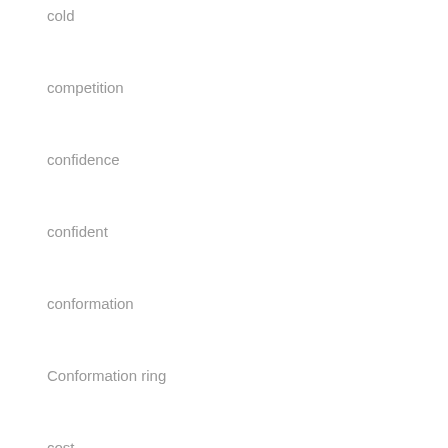cold
competition
confidence
confident
conformation
Conformation ring
cost
Death
Delivery
diet
dog personalities
dog play
exam
exan
Fecal